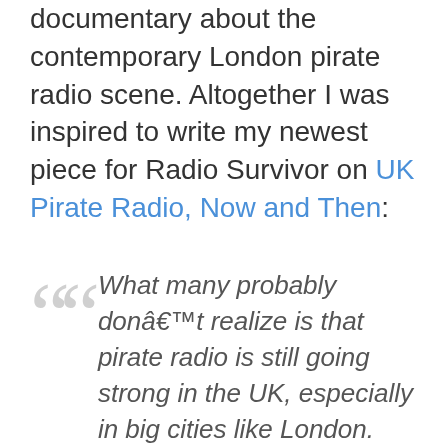documentary about the contemporary London pirate radio scene. Altogether I was inspired to write my newest piece for Radio Survivor on UK Pirate Radio, Now and Then:
What many probably don’t realize is that pirate radio is still going strong in the UK, especially in big cities like London.